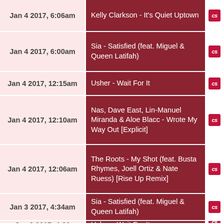Jan 4 2017, 6:06am — Kelly Clarkson - It's Quiet Uptown
Jan 4 2017, 6:00am — Sia - Satisfied (feat. Miguel & Queen Latifah)
Jan 4 2017, 12:15am — Usher - Wait For It
Jan 4 2017, 12:10am — Nas, Dave East, Lin-Manuel Miranda & Aloe Blacc - Wrote My Way Out [Explicit]
Jan 4 2017, 12:06am — The Roots - My Shot (feat. Busta Rhymes, Joell Ortiz & Nate Ruess) [Rise Up Remix]
Jan 3 2017, 4:34am — Sia - Satisfied (feat. Miguel & Queen Latifah)
Jan 3 2017, 4:30 — Usher - Wait For It